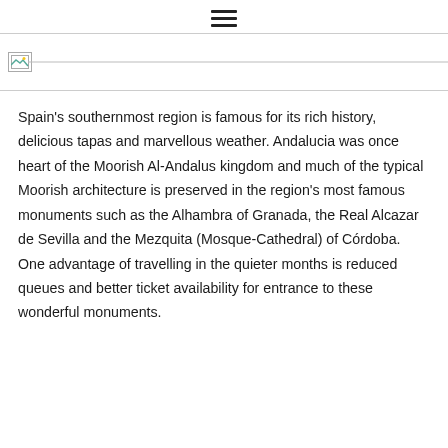☰
[Figure (photo): Image placeholder with broken image icon on the left and a horizontal divider line extending to the right]
Spain's southernmost region is famous for its rich history, delicious tapas and marvellous weather. Andalucia was once heart of the Moorish Al-Andalus kingdom and much of the typical Moorish architecture is preserved in the region's most famous monuments such as the Alhambra of Granada, the Real Alcazar de Sevilla and the Mezquita (Mosque-Cathedral) of Córdoba. One advantage of travelling in the quieter months is reduced queues and better ticket availability for entrance to these wonderful monuments.